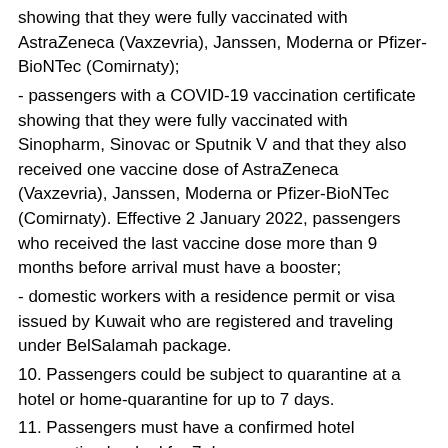showing that they were fully vaccinated with AstraZeneca (Vaxzevria), Janssen, Moderna or Pfizer-BioNTec (Comirnaty);
- passengers with a COVID-19 vaccination certificate showing that they were fully vaccinated with Sinopharm, Sinovac or Sputnik V and that they also received one vaccine dose of AstraZeneca (Vaxzevria), Janssen, Moderna or Pfizer-BioNTec (Comirnaty). Effective 2 January 2022, passengers who received the last vaccine dose more than 9 months before arrival must have a booster;
- domestic workers with a residence permit or visa issued by Kuwait who are registered and traveling under BelSalamah package.
10. Passengers could be subject to quarantine at a hotel or home-quarantine for up to 7 days.
11. Passengers must have a confirmed hotel reservation booked for 7 days at https://kuwaitmosafer.com/home.html before departure